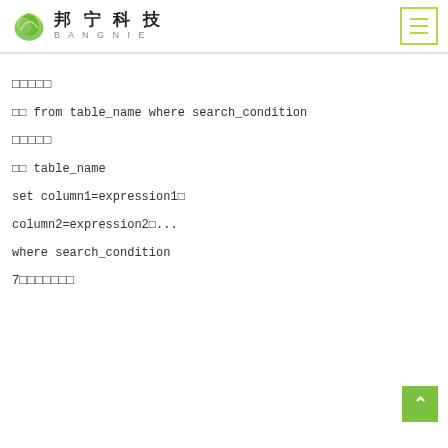邦宁科技 BANGNIE [logo + menu]
□□□□□
□□ from table_name where search_condition
□□□□□
□□ table_name
set column1=expression1□
column2=expression2□...
where search_condition
7□□□□□□□